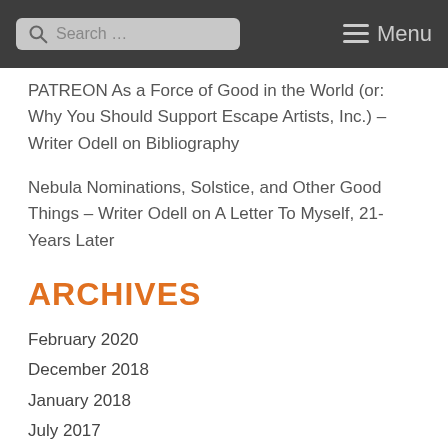Search ... Menu
PATREON As a Force of Good in the World (or: Why You Should Support Escape Artists, Inc.) – Writer Odell on Bibliography
Nebula Nominations, Solstice, and Other Good Things – Writer Odell on A Letter To Myself, 21-Years Later
ARCHIVES
February 2020
December 2018
January 2018
July 2017
May 2017
December 2016
November 2016